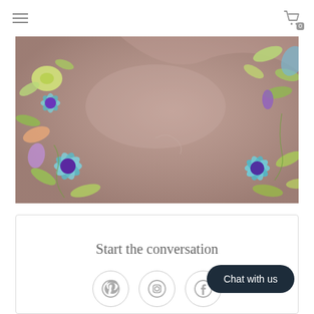≡  [cart icon] 0
[Figure (photo): Close-up of floral patterned fabric on a mauve/dusty rose background with hand-painted colorful flowers including blue, yellow, green and purple blooms with leaves and vines.]
Start the conversation
[Figure (other): Social media icons: Pinterest, Instagram, Facebook in circular outlines]
Chat with us